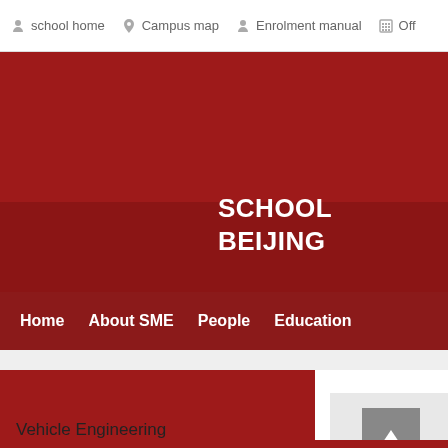school home   Campus map   Enrolment manual   Off...
[Figure (screenshot): Red university header banner background]
SCHOOL
BEIJING
Home   About SME   People   Education
Departments
Vehicle Engineering
T... ute o
Profs. Queji Sun